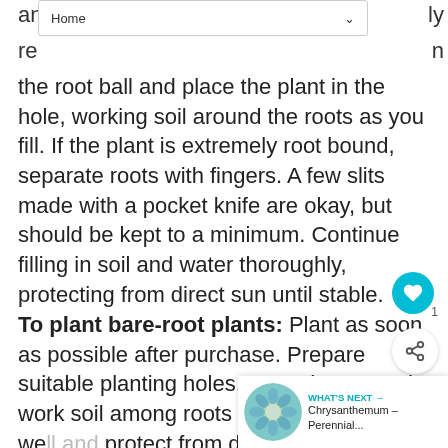Home
an... ly
re... n
the root ball and place the plant in the hole, working soil around the roots as you fill. If the plant is extremely root bound, separate roots with fingers. A few slits made with a pocket knife are okay, but should be kept to a minimum. Continue filling in soil and water thoroughly, protecting from direct sun until stable.
To plant bare-root plants: Plant as soon as possible after purchase. Prepare suitable planting holes, spread roots and work soil among roots as you fill in. Water we[ll] and protect from direct sun until stable.
[Figure (other): What's Next panel with circular flower image and text: WHAT'S NEXT → Chrysanthemum – Perennial...]